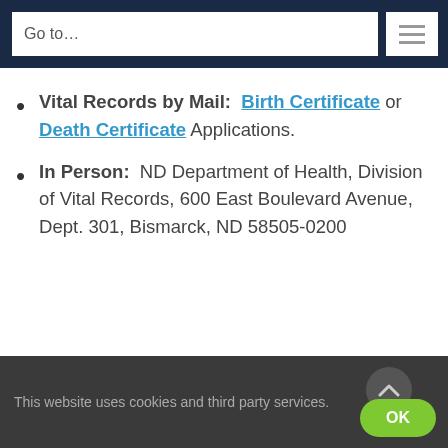Go to…
Vital Records by Mail: Birth Certificate or Death Certificate Applications.
In Person: ND Department of Health, Division of Vital Records, 600 East Boulevard Avenue, Dept. 301, Bismarck, ND 58505-0200
This website uses cookies and third party services.